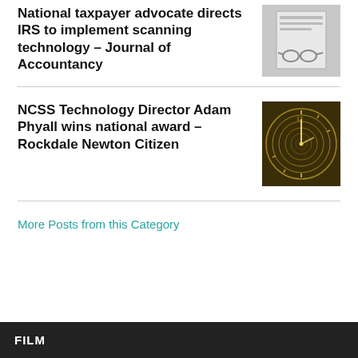National taxpayer advocate directs IRS to implement scanning technology – Journal of Accountancy
[Figure (photo): Notebook with glasses, grayscale photo]
NCSS Technology Director Adam Phyall wins national award – Rockdale Newton Citizen
[Figure (photo): Spiral clock face, golden tones]
More Posts from this Category
FILM